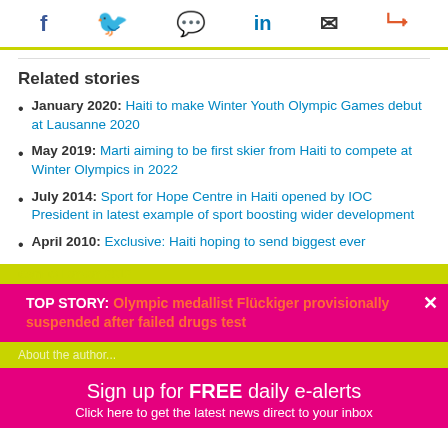[Figure (infographic): Social media sharing icons: Facebook (f), Twitter (bird), WhatsApp, LinkedIn (in), Email (envelope), Share (network)]
Related stories
January 2020: Haiti to make Winter Youth Olympic Games debut at Lausanne 2020
May 2019: Marti aiming to be first skier from Haiti to compete at Winter Olympics in 2022
July 2014: Sport for Hope Centre in Haiti opened by IOC President in latest example of sport boosting wider development
April 2010: Exclusive: Haiti hoping to send biggest ever team to London 2012
TOP STORY: Olympic medallist Flückiger provisionally suspended after failed drugs test
About the author...
Sign up for FREE daily e-alerts
Click here to get the latest news direct to your inbox